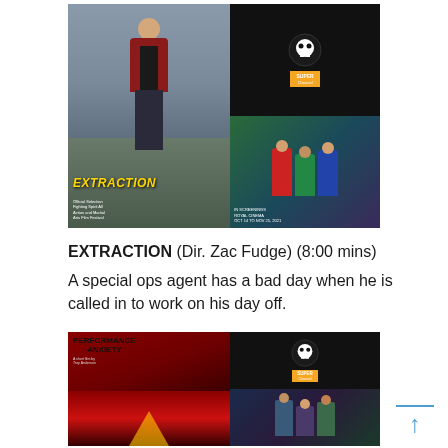[Figure (photo): Movie poster for EXTRACTION directed by Zac Fudge, showing a man in a red jacket on the left panel and animated figures on the right panel, with skull festival logo and Super Channel badge]
EXTRACTION (Dir. Zac Fudge) (8:00 mins)
A special ops agent has a bad day when he is called in to work on his day off.
[Figure (photo): Movie poster for PERFORMANCE ANXIETY, showing red and black horror-style artwork on left panel with animated figures on the right panel, with skull festival logo and Super Channel badge]